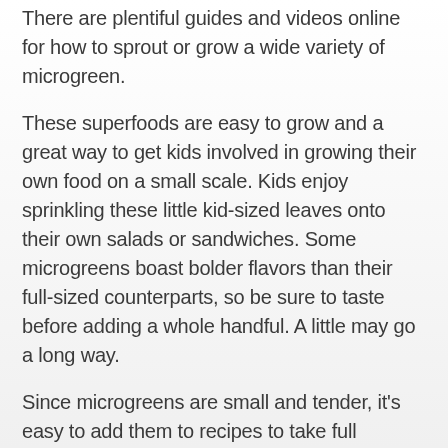There are plentiful guides and videos online for how to sprout or grow a wide variety of microgreen.
These superfoods are easy to grow and a great way to get kids involved in growing their own food on a small scale. Kids enjoy sprinkling these little kid-sized leaves onto their own salads or sandwiches. Some microgreens boast bolder flavors than their full-sized counterparts, so be sure to taste before adding a whole handful. A little may go a long way.
Since microgreens are small and tender, it's easy to add them to recipes to take full advantage of their nutritional
ADVERTISEMENT